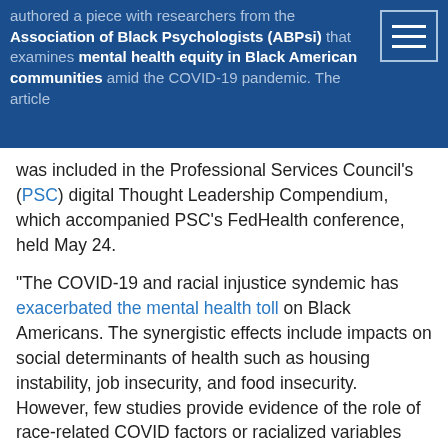authored a piece with researchers from the Association of Black Psychologists (ABPsi) that examines mental health equity in Black American communities amid the COVID-19 pandemic. The article was included in the Professional Services Council's (PSC) digital Thought Leadership Compendium, which accompanied PSC's FedHealth conference, held May 24.
“The COVID-19 and racial injustice syndemic has exacerbated the mental health toll on Black Americans. The synergistic effects include impacts on social determinants of health such as housing instability, job insecurity, and food insecurity. However, few studies provide evidence of the role of race-related COVID factors or racialized variables among these determinants. Applying a syndemic perspective in research on these intersecting issues can yield invaluable data to guide culturally responsive prevention strategies, clinical interventions, and policies to remove